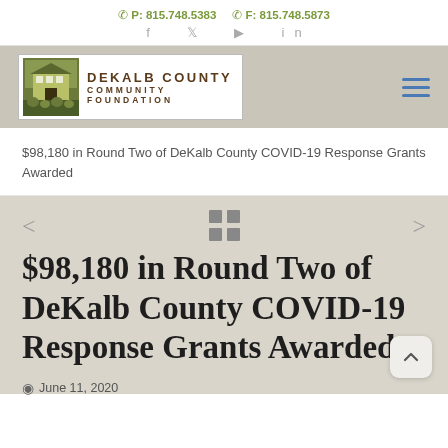P: 815.748.5383  F: 815.748.5873
[Figure (logo): DeKalb County Community Foundation logo with building/nature illustration and text]
$98,180 in Round Two of DeKalb County COVID-19 Response Grants Awarded
$98,180 in Round Two of DeKalb County COVID-19 Response Grants Awarded
June 11, 2020